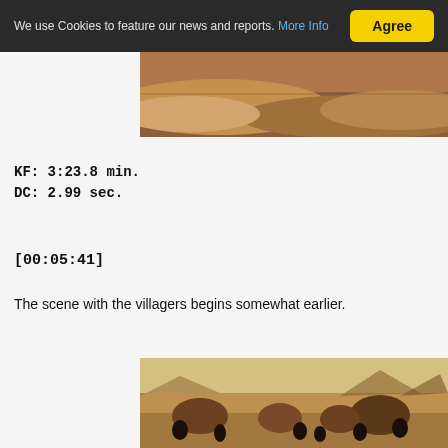We use Cookies to feature our news and reports. More Info  Agree
[Figure (photo): Desert landscape with sandy dunes and rocky terrain in warm brown/amber tones]
KF: 3:23.8 min.
DC: 2.99 sec.
[00:05:41]
The scene with the villagers begins somewhat earlier.
[Figure (photo): Village scene with people in robes gathered around dome-shaped huts in a desert landscape with warm sepia/amber tones]